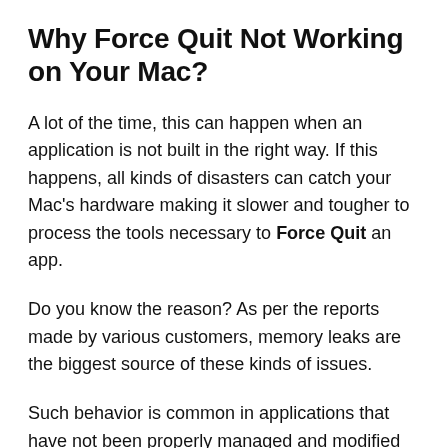Why Force Quit Not Working on Your Mac?
A lot of the time, this can happen when an application is not built in the right way. If this happens, all kinds of disasters can catch your Mac’s hardware making it slower and tougher to process the tools necessary to Force Quit an app.
Do you know the reason? As per the reports made by various customers, memory leaks are the biggest source of these kinds of issues.
Such behavior is common in applications that have not been properly managed and modified for new